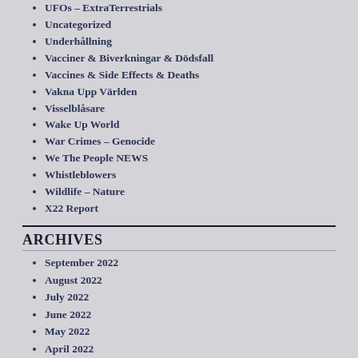UFOs – ExtraTerrestrials
Uncategorized
Underhållning
Vacciner & Biverkningar & Dödsfall
Vaccines & Side Effects & Deaths
Vakna Upp Världen
Visselblåsare
Wake Up World
War Crimes – Genocide
We The People NEWS
Whistleblowers
Wildlife – Nature
X22 Report
ARCHIVES
September 2022
August 2022
July 2022
June 2022
May 2022
April 2022
March 2022
February 2022